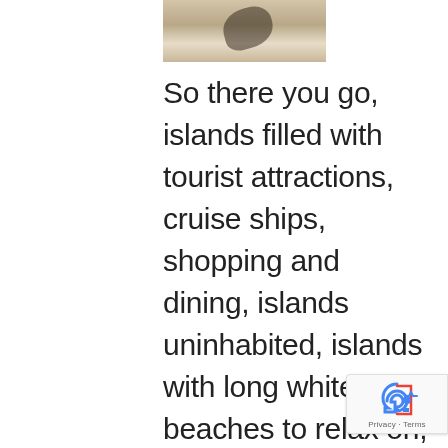[Figure (photo): Partial photo of a beach scene showing sand and a dark shadow/silhouette, cropped at top of page]
So there you go, islands filled with tourist attractions, cruise ships, shopping and dining, islands uninhabited, islands with long white sand beaches to relax on, or get up, dive